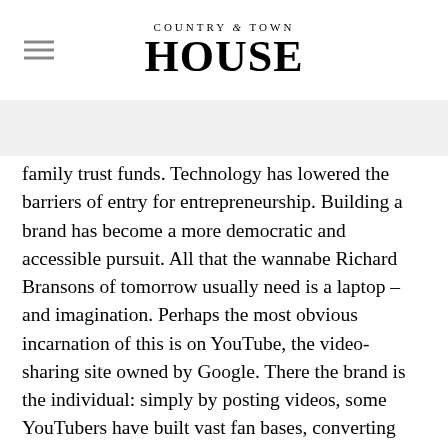COUNTRY & TOWN HOUSE
family trust funds. Technology has lowered the barriers of entry for entrepreneurship. Building a brand has become a more democratic and accessible pursuit. All that the wannabe Richard Bransons of tomorrow usually need is a laptop – and imagination. Perhaps the most obvious incarnation of this is on YouTube, the video-sharing site owned by Google. There the brand is the individual: simply by posting videos, some YouTubers have built vast fan bases, converting clicks and views into cash, then endorsements